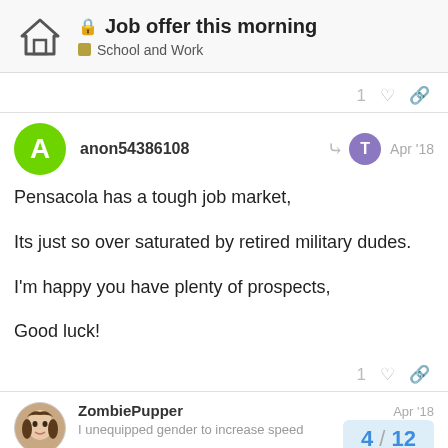Job offer this morning — School and Work
anon54386108 Apr '18
Pensacola has a tough job market,

Its just so over saturated by retired military dudes.

I'm happy you have plenty of prospects,

Good luck!
ZombiePupper Apr '18
I unequipped gender to increase speed
4 / 12